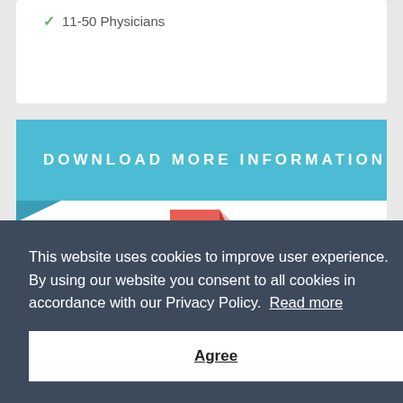11-50 Physicians
DOWNLOAD MORE INFORMATION
[Figure (illustration): Red PDF file icon with '.PDF' label]
This website uses cookies to improve user experience. By using our website you consent to all cookies in accordance with our Privacy Policy.  Read more
Agree